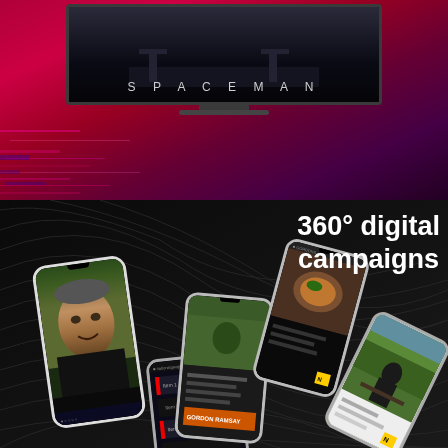[Figure (illustration): TV screen showing 'SPACEMAN' text on a dark scene, mounted above a magenta/crimson glitchy gradient background]
[Figure (infographic): Dark background with swirl lines, text '360° digital campaigns' on right side, and multiple smartphone mockups showing Gordon Ramsay content and various app screens on a dark swirling background]